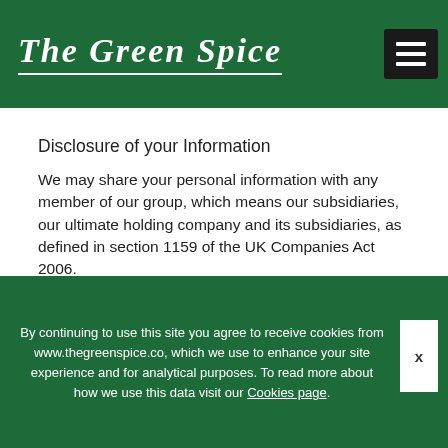and information we collect about you. We may us this nation for the on the types of
[Figure (logo): The Green Spice logo in white italic script on dark green background with white underline]
Disclosure of your Information
We may share your personal information with any member of our group, which means our subsidiaries, our ultimate holding company and its subsidiaries, as defined in section 1159 of the UK Companies Act 2006.
We may share your information with selected third parties including:
By continuing to use this site you agree to receive cookies from www.thegreenspice.co, which we use to enhance your site experience and for analytical purposes. To read more about how we use this data visit our Cookies page.